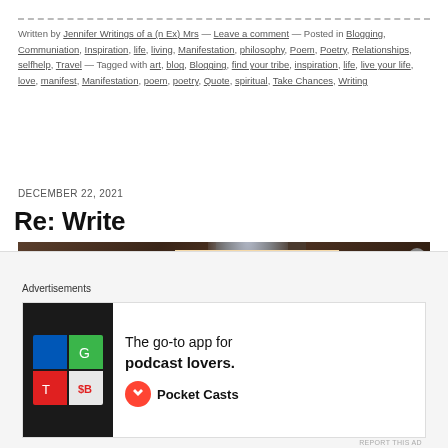Written by Jennifer Writings of a (n Ex) Mrs — Leave a comment — Posted in Blogging, Communiation, Inspiration, life, living, Manifestation, philosophy, Poem, Poetry, Relationships, selfhelp, Travel — Tagged with art, blog, Blogging, find your tribe, inspiration, life, live your life, love, manifest, Manifestation, poem, poetry, Quote, spiritual, Take Chances, Writing
DECEMBER 22, 2021
Re: Write
[Figure (photo): A decorative door/arch on the left with ornate woodwork, a glowing light in the center background, and a poem card on a peach/tan background reading: i had written down / on paper / on me / of me / the words of my destiny / carefully i / accepted my path / accepted me / [continues below]]
Advertisements
[Figure (other): Pocket Casts advertisement: colorful quadrant logo icon on dark background, text 'The go-to app for podcast lovers.' with Pocket Casts logo]